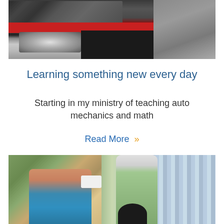[Figure (photo): A mechanic working on a car engine, showing the front of a red car with headlight visible, person wearing gray clothing]
Learning something new every day
Starting in my ministry of teaching auto mechanics and math
Read More »
[Figure (photo): An elderly white-haired woman in a green top interacting with a younger woman and a child, possibly distributing food or supplies, with plants and curtains in the background]